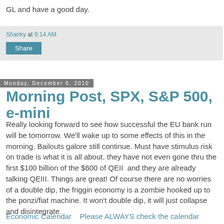GL and have a good day.
Shanky at 9:14 AM
Share
Monday, December 6, 2010
Morning Post, SPX, S&P 500, e-mini
Really looking forward to see how successful the EU bank run will be tomorrow. We'll wake up to some effects of this in the morning. Bailouts galore still continue. Must have stimulus risk on trade is what it is all about. they have not even gone thru the first $100 billion of the $600 of QEII  and they are already talking QEIII. Things are great! Of course there are no worries of a double dip, the friggin economy is a zombie hooked up to the ponzi/fiat machine. It won't double dip, it will just collapse and disintegrate.
Economic Calendar    Please ALWAYS check the calendar